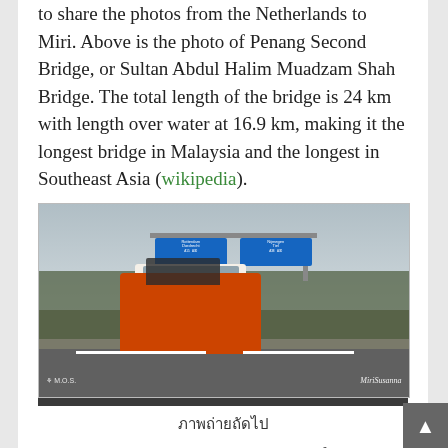to share the photos from the Netherlands to Miri. Above is the photo of Penang Second Bridge, or Sultan Abdul Halim Muadzam Shah Bridge. The total length of the bridge is 24 km with length over water at 16.9 km, making it the longest bridge in Malaysia and the longest in Southeast Asia (wikipedia).
[Figure (photo): A vintage orange VW van with bicycles on the back driving on a Dutch highway (Netherlands), with blue road signs showing Rotterdam/Dordrecht and Nijmegen/Tiel directions on an overhead gantry. Trees visible on roadside. Watermark 'MiriSusanna' on lower right.]
ภาพถ่ายถัดไป
About 13:30 pm, we departed from